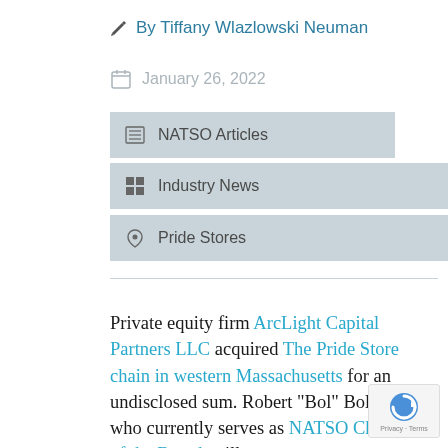By Tiffany Wlazlowski Neuman
January 26, 2022
NATSO Articles
Industry News
Pride Stores
Private equity firm ArcLight Capital Partners LLC acquired The Pride Store chain in western Massachusetts for an undisclosed sum. Robert "Bol" Bolduc, who currently serves as NATSO Chairman of the Board, will